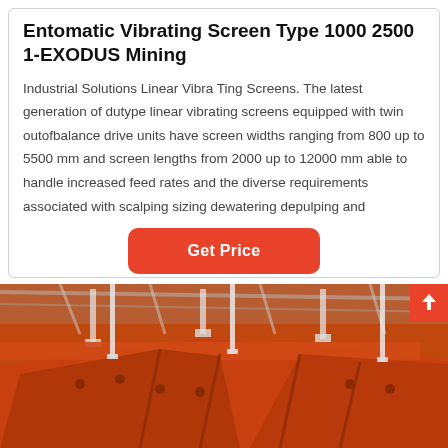Entomatic Vibrating Screen Type 1000 2500 1-EXODUS Mining
Industrial Solutions Linear Vibra Ting Screens. The latest generation of dutype linear vibrating screens equipped with twin outofbalance drive units have screen widths ranging from 800 up to 5500 mm and screen lengths from 2000 up to 12000 mm able to handle increased feed rates and the diverse requirements associated with scalping sizing dewatering depulping and
Get Price
[Figure (photo): Industrial orange/red vibrating screen mining equipment photographed inside a factory/warehouse setting with metal structure and ceiling visible]